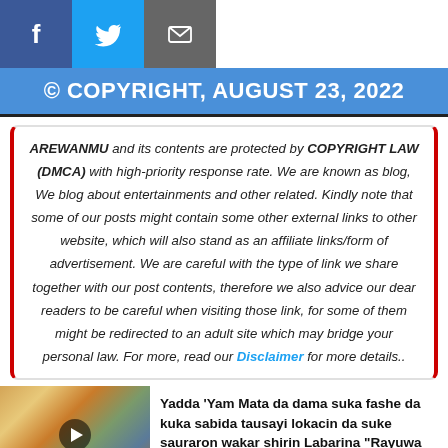[Figure (other): Social media sharing icons: Facebook (blue), Twitter (cyan/teal), Email (grey)]
© COPYRIGHT, AUGUST 23, 2022
AREWANMU and its contents are protected by COPYRIGHT LAW (DMCA) with high-priority response rate. We are known as blog, We blog about entertainments and other related. Kindly note that some of our posts might contain some other external links to other website, which will also stand as an affiliate links/form of advertisement. We are careful with the type of link we share together with our post contents, therefore we also advice our dear readers to be careful when visiting those link, for some of them might be redirected to an adult site which may bridge your personal law. For more, read our Disclaimer for more details..
[Figure (photo): Thumbnail image of women in colorful hijabs with a play button overlay]
Yadda 'Yam Mata da dama suka fashe da kuka sabida tausayi lokacin da suke sauraron wakar shirin Labarina "Rayuwa Kaddara ce"